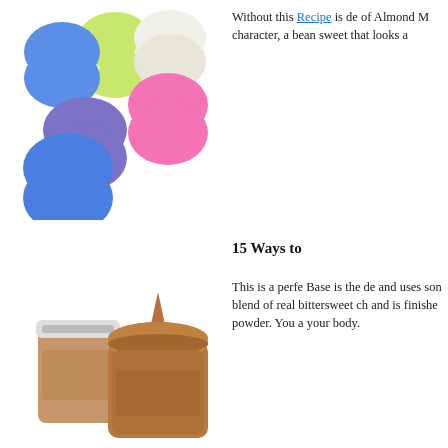[Figure (photo): Colorful macarons in pink, blue, green, white and purple colors stacked together on a white background]
Without this Recipe is de of Almond M character, a bean sweet that looks a
15 Ways to
[Figure (photo): Two jars of chocolate brown creamy spread/butter, one with a white lid closed and one open showing a swirled top of the brown cream]
This is a perfe Base is the de and uses son blend of real bittersweet ch and is finishe powder. You a your body.